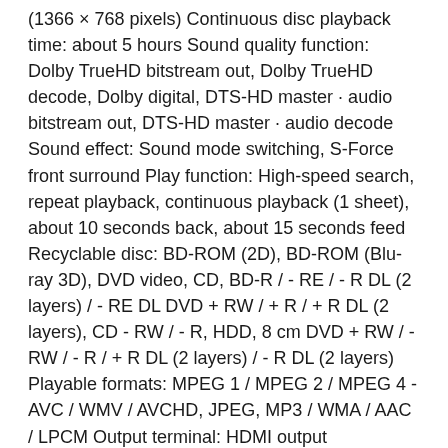(1366 × 768 pixels) Continuous disc playback time: about 5 hours Sound quality function: Dolby TrueHD bitstream out, Dolby TrueHD decode, Dolby digital, DTS-HD master · audio bitstream out, DTS-HD master · audio decode Sound effect: Sound mode switching, S-Force front surround Play function: High-speed search, repeat playback, continuous playback (1 sheet), about 10 seconds back, about 15 seconds feed Recyclable disc: BD-ROM (2D), BD-ROM (Blu-ray 3D), DVD video, CD, BD-R / - RE / - R DL (2 layers) / - RE DL DVD + RW / + R / + R DL (2 layers), CD - RW / - R, HDD, 8 cm DVD + RW / - RW / - R / + R DL (2 layers) / - R DL (2 layers) Playable formats: MPEG 1 / MPEG 2 / MPEG 4 - AVC / WMV / AVCHD, JPEG, MP3 / WMA / AAC / LPCM Output terminal: HDMI output (compatible with 3D HDMI output), headphones Input terminal: USB terminal External dimensions: (width) 263 × (height) 34 × (depth) 210 mm